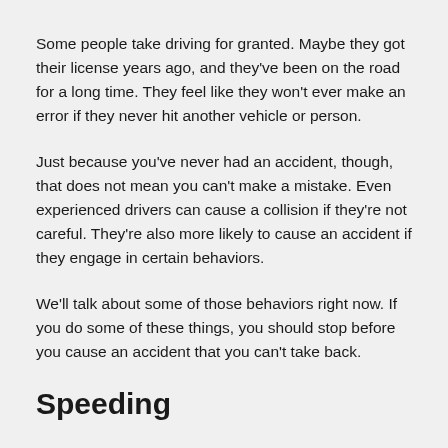Some people take driving for granted. Maybe they got their license years ago, and they've been on the road for a long time. They feel like they won't ever make an error if they never hit another vehicle or person.
Just because you've never had an accident, though, that does not mean you can't make a mistake. Even experienced drivers can cause a collision if they're not careful. They're also more likely to cause an accident if they engage in certain behaviors.
We'll talk about some of those behaviors right now. If you do some of these things, you should stop before you cause an accident that you can't take back.
Speeding